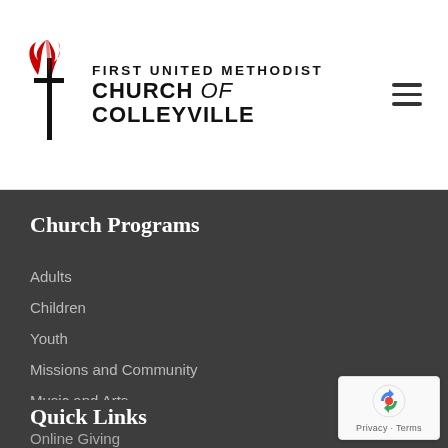[Figure (logo): First United Methodist Church of Colleyville logo with UMC cross and flame symbol in red]
FIRST UNITED METHODIST CHURCH of COLLEYVILLE
Church Programs
Adults
Children
Youth
Missions and Community
Music and Arts
Quick Links
Online Giving
[Figure (logo): Google reCAPTCHA badge with recycling arrows icon, Privacy and Terms links]